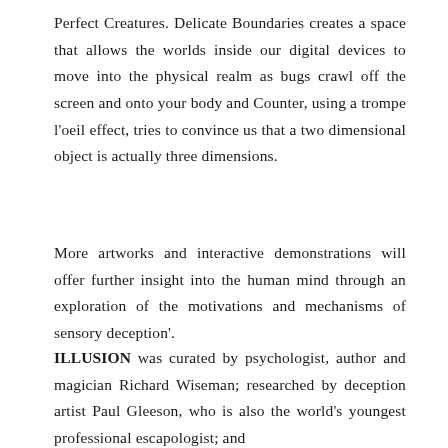Perfect Creatures. Delicate Boundaries creates a space that allows the worlds inside our digital devices to move into the physical realm as bugs crawl off the screen and onto your body and Counter, using a trompe l'oeil effect, tries to convince us that a two dimensional object is actually three dimensions.
More artworks and interactive demonstrations will offer further insight into the human mind through an exploration of the motivations and mechanisms of sensory deception'.
ILLUSION was curated by psychologist, author and magician Richard Wiseman; researched by deception artist Paul Gleeson, who is also the world's youngest professional escapologist; and